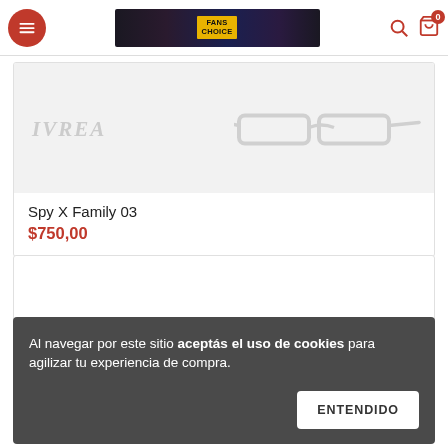Navigation bar with menu button, FANS CHOICE banner, search icon, and cart (0)
[Figure (photo): Product image area showing glasses with IVREA branding on a light gray background]
Spy X Family 03
$750,00
[Figure (photo): Partial second product card area, white background]
Al navegar por este sitio aceptás el uso de cookies para agilizar tu experiencia de compra.
ENTENDIDO